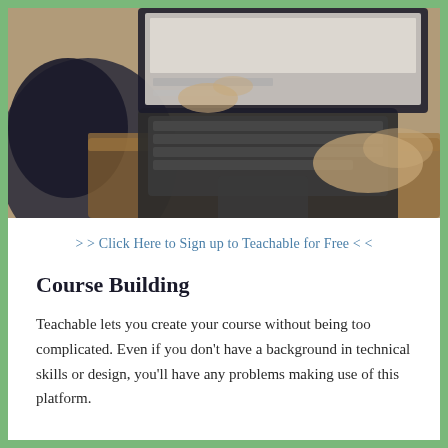[Figure (photo): Person viewed from behind typing on a laptop/tablet computer on a wooden surface, motion-blurred hands]
> > Click Here to Sign up to Teachable for Free < <
Course Building
Teachable lets you create your course without being too complicated. Even if you don't have a background in technical skills or design, you'll have any problems making use of this platform.